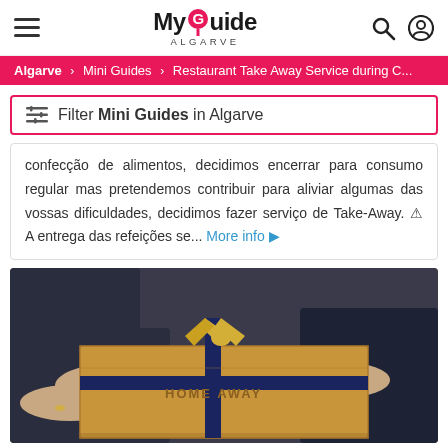MyGuide ALGARVE
Algarve > Mini Guides > Restaurant Take Away Service during C...
Filter Mini Guides in Algarve
confecção de alimentos, decidimos encerrar para consumo regular mas pretendemos contribuir para aliviar algumas das vossas dificuldades, decidimos fazer serviço de Take-Away. ⚠ A entrega das refeições se... More info ▶
[Figure (photo): Two people exchanging a brown cardboard gift box tied with navy blue and gold ribbon, labeled HOME AWAY]